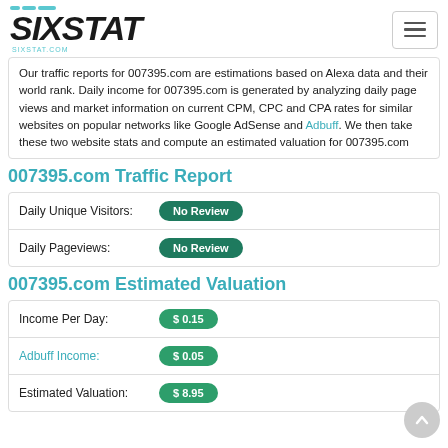SIXSTAT - sixstat.com
Our traffic reports for 007395.com are estimations based on Alexa data and their world rank. Daily income for 007395.com is generated by analyzing daily page views and market information on current CPM, CPC and CPA rates for similar websites on popular networks like Google AdSense and Adbuff. We then take these two website stats and compute an estimated valuation for 007395.com
007395.com Traffic Report
| Metric | Value |
| --- | --- |
| Daily Unique Visitors: | No Review |
| Daily Pageviews: | No Review |
007395.com Estimated Valuation
| Metric | Value |
| --- | --- |
| Income Per Day: | $ 0.15 |
| Adbuff Income: | $ 0.05 |
| Estimated Valuation: | $ 8.95 |